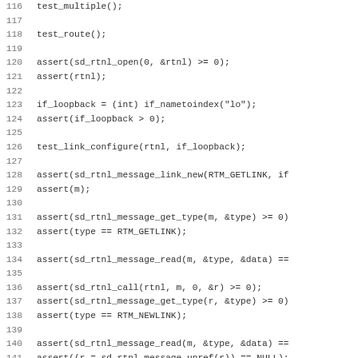[Figure (screenshot): Source code listing showing C code lines 116–147, with line numbers on the left and code on the right. The code contains function calls and assert statements for sd_rtnl socket/message API testing.]